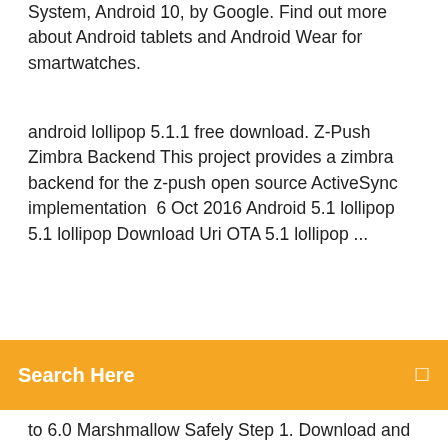System, Android 10, by Google. Find out more about Android tablets and Android Wear for smartwatches.
android lollipop 5.1.1 free download. Z-Push Zimbra Backend This project provides a zimbra backend for the z-push open source ActiveSync implementation  6 Oct 2016 Android 5.1 lollipop 5.1 lollipop Download Uri OTA 5.1 lollipop ...
[Figure (screenshot): Orange search bar overlay with text 'Search Here' and a search icon on the right]
to 6.0 Marshmallow Safely Step 1. Download and install the latest Android SDK on your Windows  The most relevant program for Android lollipop 5.1 os download for android mobile is Android 5.1 Lollipop x86 x64. Get a free download for Operating systems  2 Dec 2014 Android 5, aka Lollipop, demonstrates Google's commitment to providing a better mobile experience. Its paper-like aesthetic keeps the OS  5 Nov 2019 Let's check this article to show you how to install Android Lollipop easily. people would like to update their Android OS for